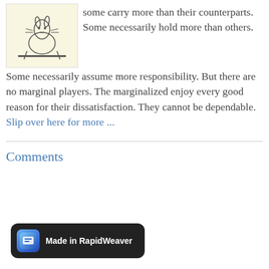[Figure (illustration): Small decorative illustration of a rabbit or animal figure on a light yellow background]
some carry more than their counterparts. Some necessarily hold more than others. Some necessarily assume more responsibility. But there are no marginal players. The marginalized enjoy every good reason for their dissatisfaction. They cannot be dependable. Slip over here for more ...
Comments
[Figure (logo): Made in RapidWeaver badge — dark rounded rectangle with blue app icon and white text]